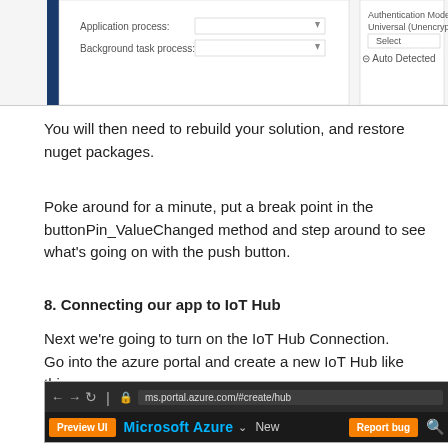[Figure (screenshot): Partial screenshot of a Windows application settings dialog showing 'Application process: Managed Only' and 'Background task process: Managed Only' on the left, and 'Authentication Mode: Universal (Unencrypted Protocol)' with 'Auto Detected' on the right.]
You will then need to rebuild your solution, and restore nuget packages.
Poke around for a minute, put a break point in the buttonPin_ValueChanged method and step around to see what's going on with the push button.
8. Connecting our app to IoT Hub
Next we're going to turn on the IoT Hub Connection.
Go into the azure portal and create a new IoT Hub like this:
[Figure (screenshot): Screenshot of Microsoft Azure portal in a browser showing the address bar with ms.portal.azure.com/#create/hub, a dark menu bar with 'Preview UI' button, 'Microsoft Azure' branding, 'New' option, and 'Report bug' button.]